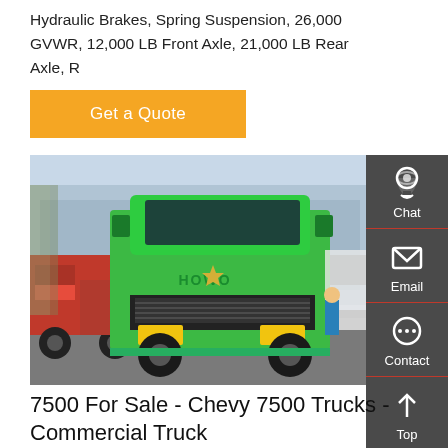Hydraulic Brakes, Spring Suspension, 26,000 GVWR, 12,000 LB Front Axle, 21,000 LB Rear Axle, R
Get a Quote
[Figure (photo): Green HOWO commercial truck parked in a lot with red trucks in background, front-facing view]
7500 For Sale - Chevy 7500 Trucks - Commercial Truck